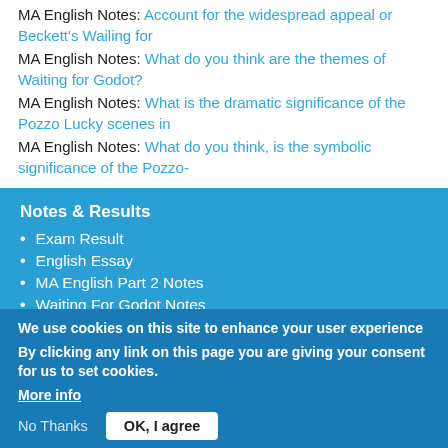MA English Notes: Account for the widespread appeal or Beckett's Wailing for
MA English Notes: What do you think are the themes of Waiting for Godot?
MA English Notes: What is the dramatic significance of the Pozzo Lucky scenes in
MA English Notes: What do you think, is the symbolic significance of the Pozzo-
Notes & Results
Exam Result
English Essay
MA English Part 2 Notes
Waiting For Godot Notes
MA Syllabus Course Outline
We use cookies on this site to enhance your user experience
By clicking any link on this page you are giving your consent for us to set cookies.
More info
No Thanks
OK, I agree